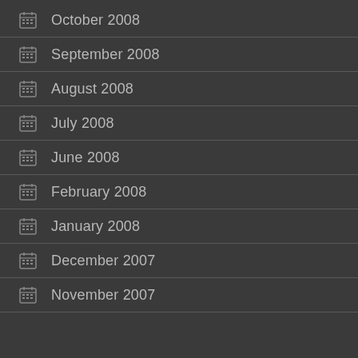October 2008
September 2008
August 2008
July 2008
June 2008
February 2008
January 2008
December 2007
November 2007